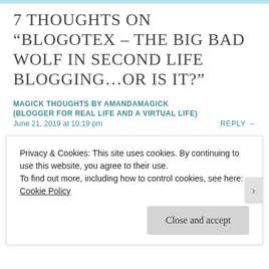7 THOUGHTS ON “BLOGOTEX – THE BIG BAD WOLF IN SECOND LIFE BLOGGING…OR IS IT?”
MAGICK THOUGHTS BY AMANDAMAGICK (BLOGGER FOR REAL LIFE AND A VIRTUAL LIFE)
June 21, 2019 at 10:19 pm
REPLY →
I am glad you wrote out your thoughts here too. I as well wrote a blog
Privacy & Cookies: This site uses cookies. By continuing to use this website, you agree to their use.
To find out more, including how to control cookies, see here: Cookie Policy
Close and accept